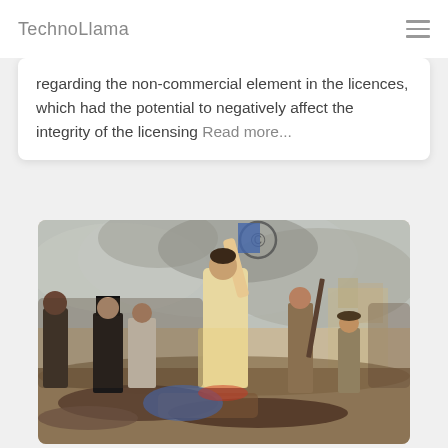TechnoLlama
regarding the non-commercial element in the licences, which had the potential to negatively affect the integrity of the licensing Read more...
[Figure (photo): Painting of Liberty Leading the People by Eugène Delacroix, showing a woman holding a flag and rifle leading revolutionary fighters over fallen bodies, with a copyright symbol overlay at the top]